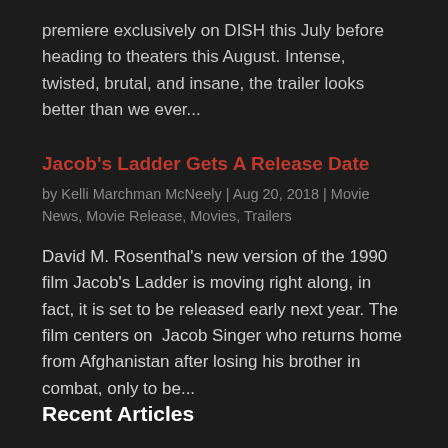premiere exclusively on DISH this July before heading to theaters this August. Intense, twisted, brutal, and insane, the trailer looks better than we ever...
Jacob's Ladder Gets A Release Date
by Kelli Marchman McNeely | Aug 20, 2018 | Movie News, Movie Release, Movies, Trailers
David M. Rosenthal's new version of the 1990 film Jacob's Ladder is moving right along, in fact, it is set to be released early next year. The film centers on  Jacob Singer who returns home from Afghanistan after losing his brother in combat, only to be...
Recent Articles